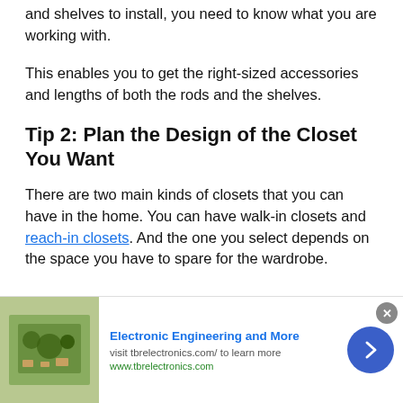and shelves to install, you need to know what you are working with.
This enables you to get the right-sized accessories and lengths of both the rods and the shelves.
Tip 2: Plan the Design of the Closet You Want
There are two main kinds of closets that you can have in the home. You can have walk-in closets and reach-in closets. And the one you select depends on the space you have to spare for the wardrobe.
[Figure (other): Advertisement banner for Electronic Engineering and More (tbrelectronics.com) with a circuit board image, close button, and navigation arrow.]